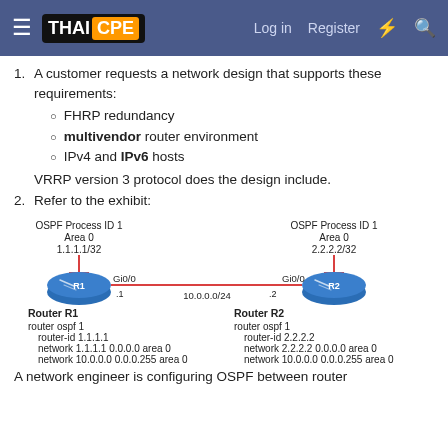THAI CPE | Log in | Register
1. A customer requests a network design that supports these requirements: FHRP redundancy, multivendor router environment, IPv4 and IPv6 hosts. VRRP version 3 protocol does the design include.
2. Refer to the exhibit:
[Figure (network-graph): Network diagram showing two routers R1 and R2 connected via a 10.0.0.0/24 network. R1 has OSPF Process ID 1, Area 0, IP 1.1.1.1/32, interface Gi0/0 (.1). R2 has OSPF Process ID 1, Area 0, IP 2.2.2.2/32, interface Gi0/0 (.2). Router R1 config: router ospf 1, router-id 1.1.1.1, network 1.1.1.1 0.0.0.0 area 0, network 10.0.0.0 0.0.0.255 area 0. Router R2 config: router ospf 1, router-id 2.2.2.2, network 2.2.2.2 0.0.0.0 area 0, network 10.0.0.0 0.0.0.255 area 0.]
A network engineer is configuring OSPF between router